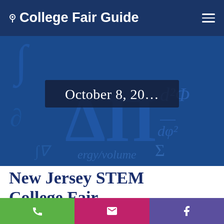College Fair Guide
[Figure (screenshot): Hero banner image with STEM math formulas background in blue, showing a date badge reading 'October 8, 20...']
New Jersey STEM College Fair
Representatives from two-year and four-year colleges, nursing schools,
Phone | Email | Facebook